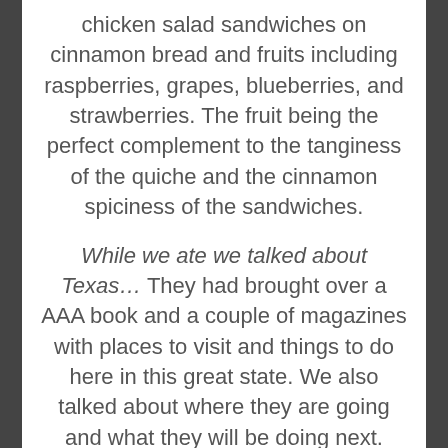chicken salad sandwiches on cinnamon bread and fruits including raspberries, grapes, blueberries, and strawberries. The fruit being the perfect complement to the tanginess of the quiche and the cinnamon spiciness of the sandwiches.
While we ate we talked about Texas... They had brought over a AAA book and a couple of magazines with places to visit and things to do here in this great state. We also talked about where they are going and what they will be doing next. They will become camp hosts at their next camping spot